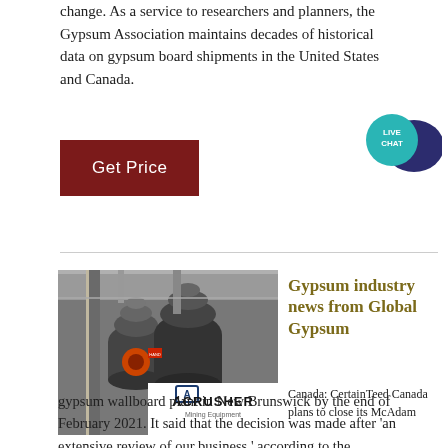change. As a service to researchers and planners, the Gypsum Association maintains decades of historical data on gypsum board shipments in the United States and Canada.
[Figure (other): Dark red 'Get Price' button]
[Figure (other): Live Chat speech bubble icon in teal/dark blue]
[Figure (photo): Industrial machinery (cone crushers) in a plant facility with an ACRUSHER Mining Equipment logo overlay]
Gypsum industry news from Global Gypsum
Canada: CertainTeed Canada plans to close its McAdam gypsum wallboard plant in New Brunswick by the end of February 2021. It said that the decision was made after 'an extensive review of our business,' according to the